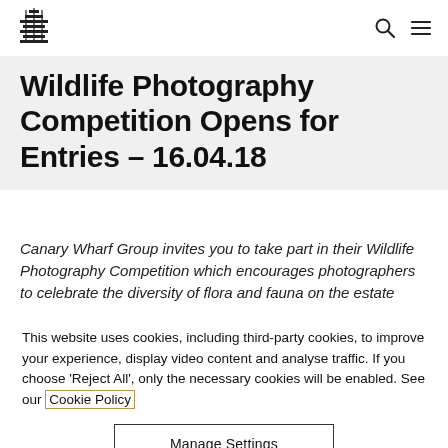Canary Wharf Group — navigation bar with logo, search and menu icons
Wildlife Photography Competition Opens for Entries – 16.04.18
Canary Wharf Group invites you to take part in their Wildlife Photography Competition which encourages photographers to celebrate the diversity of flora and fauna on the estate
This website uses cookies, including third-party cookies, to improve your experience, display video content and analyse traffic. If you choose 'Reject All', only the necessary cookies will be enabled. See our Cookie Policy
Manage Settings
Reject All
Accept All